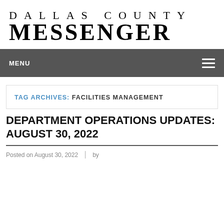[Figure (logo): Dallas County Messenger newspaper logo in black serif font on white background]
MENU
TAG ARCHIVES: FACILITIES MANAGEMENT
DEPARTMENT OPERATIONS UPDATES: AUGUST 30, 2022
Posted on August 30, 2022 | by